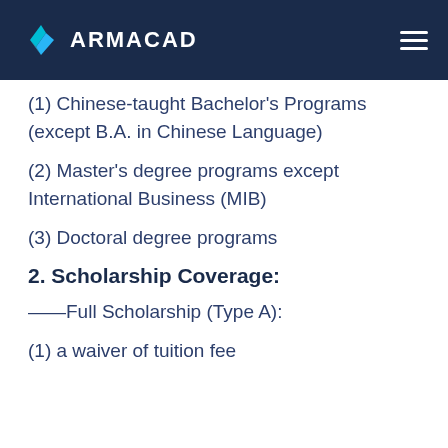ARMACAD
(1) Chinese-taught Bachelor's Programs (except B.A. in Chinese Language)
(2) Master's degree programs except International Business (MIB)
(3) Doctoral degree programs
2. Scholarship Coverage:
——Full Scholarship (Type A):
(1) a waiver of tuition fee